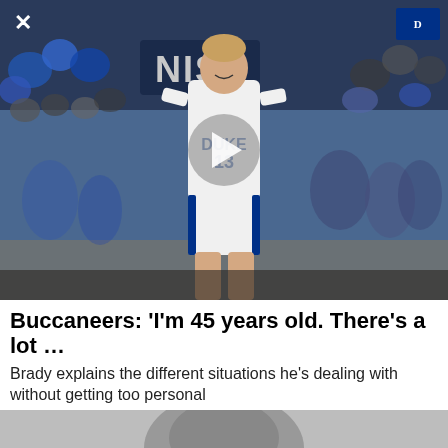[Figure (photo): Duke basketball player wearing jersey number 13 (DUKE 13) smiling on court, crowd with blue pom-poms in background, video play button overlay, close X button top-left, Duke logo top-right]
Buccaneers: 'I'm 45 years old. There's a lot …
Brady explains the different situations he's dealing with without getting too personal
CBSSports.com
[Figure (photo): Partial image at bottom of page, appears to be a person's head/shoulders, partially visible]